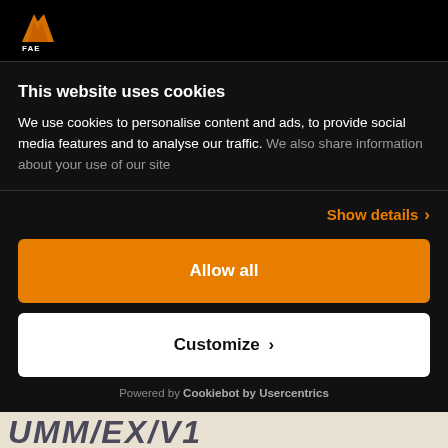[Figure (logo): FAE logo - orange angular flame/wing icon with 'FAE' text in white below, on black background]
This website uses cookies
We use cookies to personalise content and ads, to provide social media features and to analyse our traffic. We also share information about your use of our site
Show details >
Allow all
Customize >
Powered by Cookiebot by Usercentrics
UMM/EX/V1